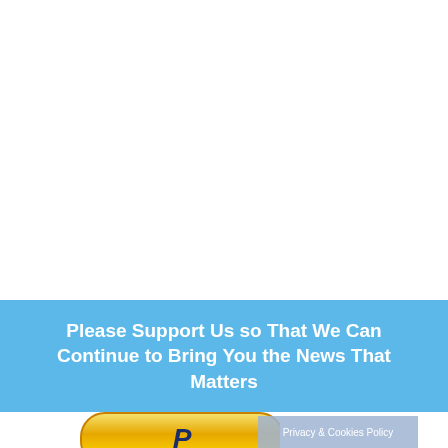Please Support Us so That We Can Continue to Bring You the News That Matters
[Figure (logo): Partial PayPal button with gold pill shape and blue italic P letter, partially visible at bottom of page, with a semi-transparent 'Privacy & Cookies Policy' overlay in the bottom right area.]